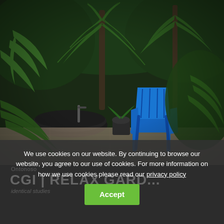[Figure (photo): Lush tropical garden scene with dense green palm trees and foliage, a dark water feature bowl on the left, a bright blue Adirondack chair in the center-right, set on a stone patio surrounded by tropical plants.]
We use cookies on our website. By continuing to browse our website, you agree to our use of cookies. For more information on how we use cookies please read our privacy policy
Accept
CGI | RELAX GARD...
identical studies